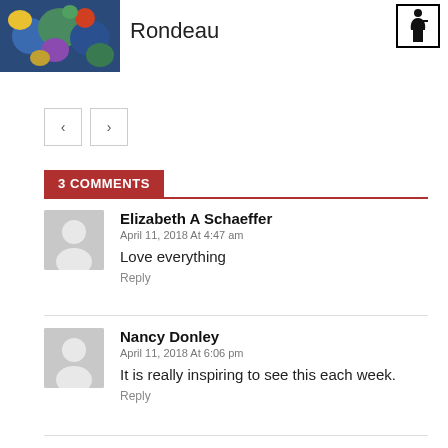[Figure (photo): Colorful artwork thumbnail image (floral/abstract pattern in blues, yellows, greens)]
Rondeau
[Figure (other): Accessibility icon (wheelchair symbol) in a bordered box]
< >
3 COMMENTS
[Figure (other): Default user avatar (grey silhouette)]
Elizabeth A Schaeffer
April 11, 2018 At 4:47 am
Love everything
Reply
[Figure (other): Default user avatar (grey silhouette)]
Nancy Donley
April 11, 2018 At 6:06 pm
It is really inspiring to see this each week.
Reply